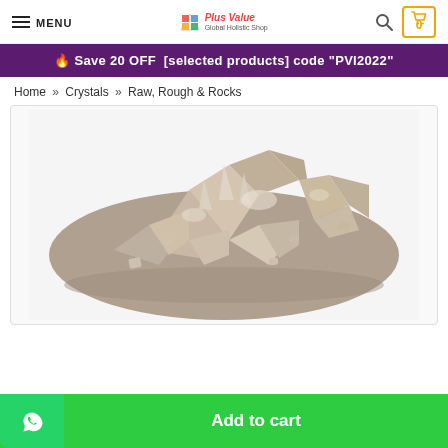MENU | Plus Value Global Holistic Shop | Search | Cart 0
🔥 Save 20 OFF  [selected products] code "PVI2022"
Home » Crystals » Raw, Rough & Rocks
[Figure (photo): A rough raw crystal cluster rock specimen, brownish-grey color with jagged crystalline formations, displayed on a white background.]
Add to cart